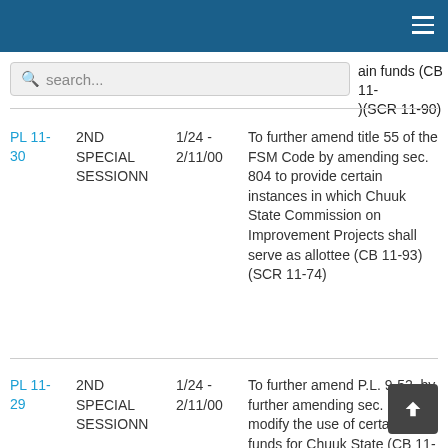ain funds (CB 11-)(SCR 11-90)
PL 11-30 | 2ND SPECIAL SESSIONN | 1/24 - 2/11/00 | To further amend title 55 of the FSM Code by amending sec. 804 to provide certain instances in which Chuuk State Commission on Improvement Projects shall serve as allottee (CB 11-93)(SCR 11-74)
PL 11-29 | 2ND SPECIAL SESSIONN | 1/24 - 2/11/00 | To further amend P.L. 9-52, by further amending sec. 1 to modify the use of certain funds for Chuuk State (CB 11-